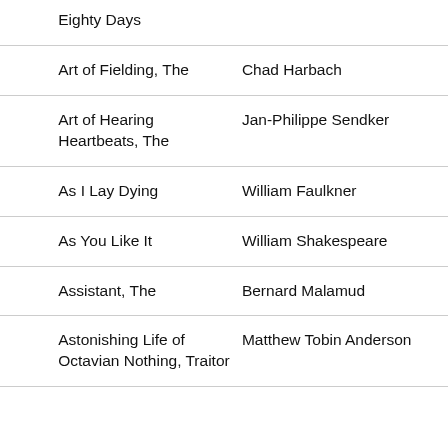| Title | Author |
| --- | --- |
| Eighty Days |  |
| Art of Fielding, The | Chad Harbach |
| Art of Hearing Heartbeats, The | Jan-Philippe Sendker |
| As I Lay Dying | William Faulkner |
| As You Like It | William Shakespeare |
| Assistant, The | Bernard Malamud |
| Astonishing Life of Octavian Nothing, Traitor | Matthew Tobin Anderson |